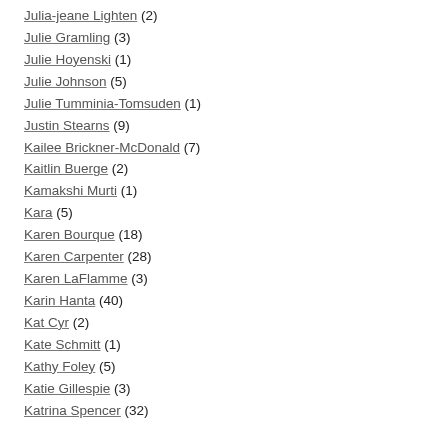Julia-jeane Lighten (2)
Julie Gramling (3)
Julie Hoyenski (1)
Julie Johnson (5)
Julie Tumminia-Tomsuden (1)
Justin Stearns (9)
Kailee Brickner-McDonald (7)
Kaitlin Buerge (2)
Kamakshi Murti (1)
Kara (5)
Karen Bourque (18)
Karen Carpenter (28)
Karen LaFlamme (3)
Karin Hanta (40)
Kat Cyr (2)
Kate Schmitt (1)
Kathy Foley (5)
Katie Gillespie (3)
Katrina Spencer (32)